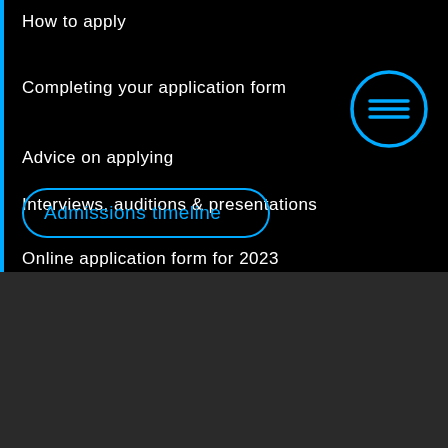How to apply
Completing your application form
Advice on applying
Interviews, auditions & presentations
Admissions timeline
Online application form for 2023 entry
Cookie Policy
This site uses cookies to store information on your computer. Click here for more information
Allow Cookies
Cookie Settings